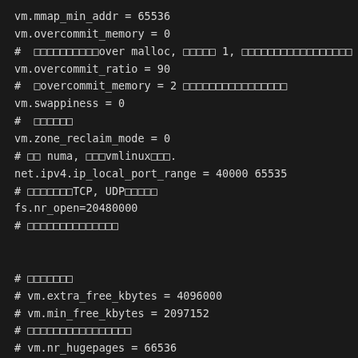vm.mmap_min_addr = 65536
vm.overcommit_memory = 0
#           over malloc,       1,                 
vm.overcommit_ratio = 90
#   □overcommit_memory = 2                 
vm.swappiness = 0
#   □□□□□□
vm.zone_reclaim_mode = 0
# □□ numa, □□□vmlinux□□□.
net.ipv4.ip_local_port_range = 40000 65535
# □□□□□□□TCP, UDP□□□□□
fs.nr_open=20480000
# □□□□□□□□□□□□□□


# □□□□□□□
# vm.extra_free_kbytes = 4096000
# vm.min_free_kbytes = 2097152
# □□□□□□□□□□□□□□□□
# vm.nr_hugepages = 66536
#   shared buffer□□□□64GB□ □□□□□□□□ /proc/meminfo Hugep
# vm.lowmem reserve ratio = 1 1 1